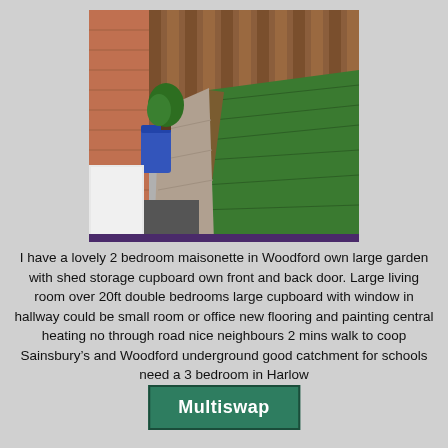[Figure (photo): A garden photo showing a paved path running through the center, green lawn on the right with wooden border edging, wooden fence panels in the background, a blue bin and potted plant on the left, a white appliance visible on the lower left.]
I have a lovely 2 bedroom maisonette in Woodford own large garden with shed storage cupboard own front and back door. Large living room over 20ft double bedrooms large cupboard with window in hallway could be small room or office new flooring and painting central heating no through road nice neighbours 2 mins walk to coop Sainsbury’s and Woodford underground good catchment for schools need a 3 bedroom in Harlow
Multiswap